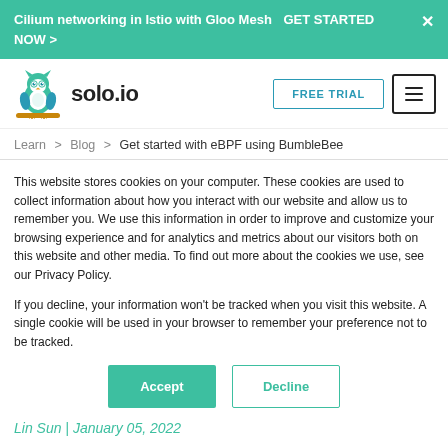Cilium networking in Istio with Gloo Mesh  GET STARTED NOW >  ×
[Figure (logo): solo.io owl logo with text 'solo.io']
FREE TRIAL
≡
Learn > Blog > Get started with eBPF using BumbleBee
This website stores cookies on your computer. These cookies are used to collect information about how you interact with our website and allow us to remember you. We use this information in order to improve and customize your browsing experience and for analytics and metrics about our visitors both on this website and other media. To find out more about the cookies we use, see our Privacy Policy.
If you decline, your information won't be tracked when you visit this website. A single cookie will be used in your browser to remember your preference not to be tracked.
Accept
Decline
Lin Sun | January 05, 2022